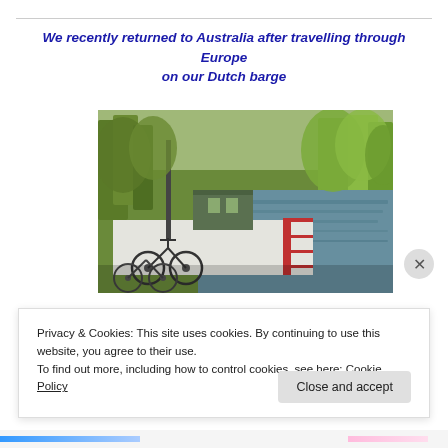We recently returned to Australia after travelling through Europe on our Dutch barge
[Figure (photo): A Dutch barge moored along a tree-lined canal in Europe. Bicycles are visible on the deck in the foreground, and lush green trees line the canal banks.]
Privacy & Cookies: This site uses cookies. By continuing to use this website, you agree to their use.
To find out more, including how to control cookies, see here: Cookie Policy
Close and accept